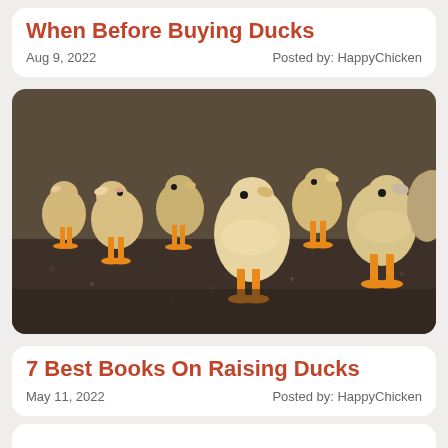When Before Buying Ducks
Aug 9, 2022    Posted by: HappyChicken
[Figure (photo): A group of fluffy yellow ducklings standing on a dark gravel surface, facing various directions. The ducklings have yellow-orange feet and pale pink/yellow beaks.]
7 Best Books On Raising Ducks
May 11, 2022    Posted by: HappyChicken